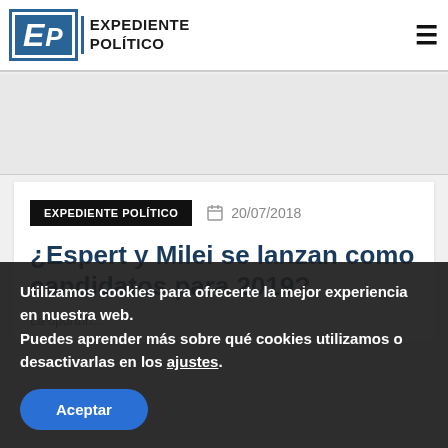EXPEDIENTE POLÍTICO
[Figure (other): Advertisement banner area, light gray background]
EXPEDIENTE POLÍTICO  📅  20/07/2018
¿Espert y Milei se lanzan como candidatos para 2019?
Utilizamos cookies para ofrecerte la mejor experiencia en nuestra web.
Puedes aprender más sobre qué cookies utilizamos o desactivarlas en los ajustes.
Aceptar